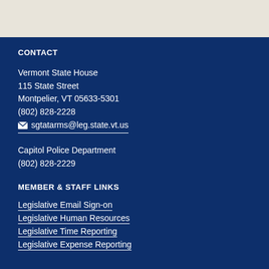CONTACT
Vermont State House
115 State Street
Montpelier, VT 05633-5301
(802) 828-2228
sgtatarms@leg.state.vt.us
Capitol Police Department
(802) 828-2229
MEMBER & STAFF LINKS
Legislative Email Sign-on
Legislative Human Resources
Legislative Time Reporting
Legislative Expense Reporting